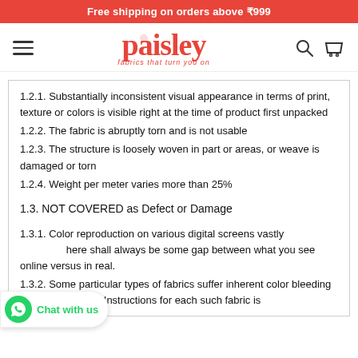Free shipping on orders above ₹999
[Figure (logo): Paisley logo with tagline 'fabrics that turn you on']
1.2.1. Substantially inconsistent visual appearance in terms of print, texture or colors is visible right at the time of product first unpacked
1.2.2. The fabric is abruptly torn and is not usable
1.2.3. The structure is loosely woven in part or areas, or weave is damaged or torn
1.2.4. Weight per meter varies more than 25%
1.3. NOT COVERED as Defect or Damage
1.3.1. Color reproduction on various digital screens vastly there shall always be some gap between what you see online versus in real.
1.3.2. Some particular types of fabrics suffer inherent color bleeding for a few washes. Instructions for each such fabric is